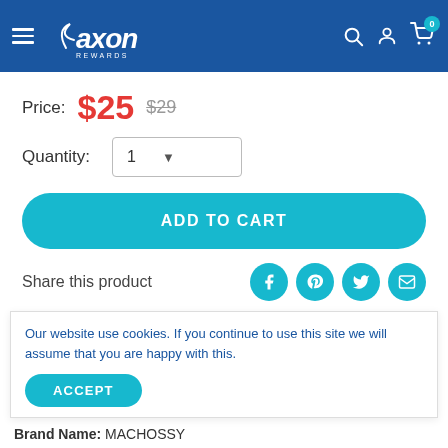Axon Rewards — navigation header with hamburger menu, logo, search, account, and cart (0 items)
Price: $25  $29
Quantity: 1
ADD TO CART
Share this product
Our website use cookies. If you continue to use this site we will assume that you are happy with this.
ACCEPT
Brand Name: MACHOSSY